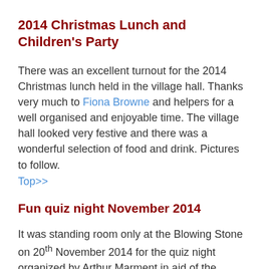2014 Christmas Lunch and Children's Party
There was an excellent turnout for the 2014 Christmas lunch held in the village hall. Thanks very much to Fiona Browne and helpers for a well organised and enjoyable time. The village hall looked very festive and there was a wonderful selection of food and drink. Pictures to follow.
Top>>
Fun quiz night November 2014
It was standing room only at the Blowing Stone on 20th November 2014 for the quiz night organized by Arthur Marment in aid of the restoration of the church. Celebrations